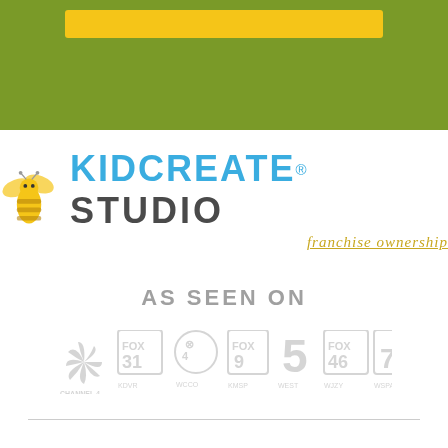[Figure (illustration): Green header bar with yellow rounded rectangle accent on top portion of page]
[Figure (logo): Kidcreate Studio franchise ownership logo with bee mascot, teal KIDCREATE text, dark STUDIO text, and italic gold 'franchise ownership' tagline]
AS SEEN ON
[Figure (illustration): Row of grayscale TV network logos: NBC, FOX 31, CBS 4 WCCO, FOX 9, 5 West, FOX 46, 7 CBS WSPA]